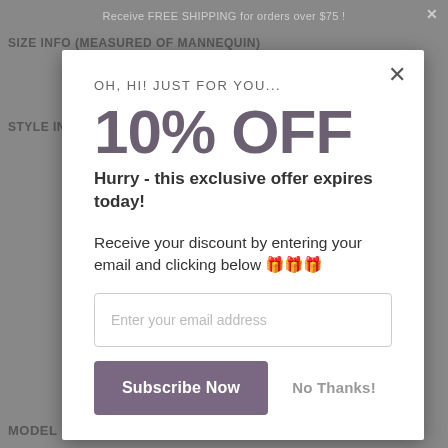Receive FREE SHIPPING for orders over $75 !
SIZE INFO (MEASURED OF MANNEQUIN)
STYLE INFO
MODEL INFO
OH, HI! JUST FOR YOU...
10% OFF
Hurry - this exclusive offer expires today!
Receive your discount by entering your email and clicking below 🎁🎁🎁
Enter your email address
Subscribe Now
No Thanks!